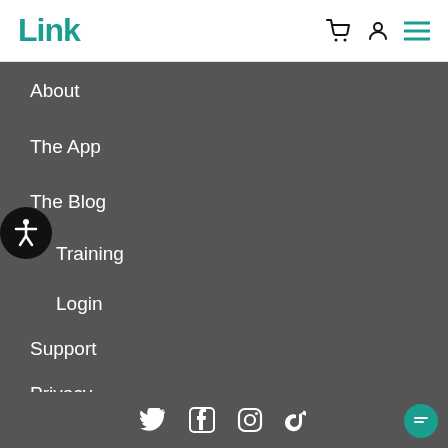Link
About
The App
The Blog
Training
Login
Support
Privacy
Terms of Services and Sale
[Figure (infographic): Social media icons: Twitter, Facebook, Instagram, TikTok]